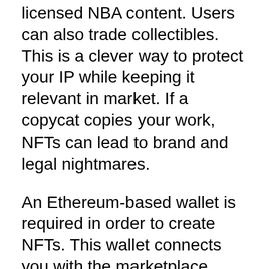licensed NBA content. Users can also trade collectibles. This is a clever way to protect your IP while keeping it relevant in market. If a copycat copies your work, NFTs can lead to brand and legal nightmares.
An Ethereum-based wallet is required in order to create NFTs. This wallet connects you with the marketplace. Next, you need to enter a message in your wallet. Next, add an image, a name, and a description to the wallet. After that, you are ready create your first NFT. There are many different ways to create NFTs. This article will help you with each step.
Create a free Moralis account